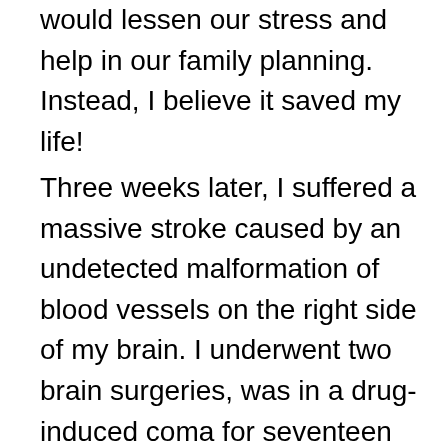would lessen our stress and help in our family planning. Instead, I believe it saved my life!
Three weeks later, I suffered a massive stroke caused by an undetected malformation of blood vessels on the right side of my brain. I underwent two brain surgeries, was in a drug-induced coma for seventeen days, was in the hospital for two months, and was left paralyzed on the left side. Soon after I was discharged, my husband lost his job because of the slowdown in the aviation industry from September 11th. We made a